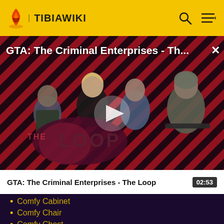TIBIAWIKI
[Figure (screenshot): Video thumbnail for GTA: The Criminal Enterprises - The Loop, showing game characters on a red diagonal striped background with THE LOOP logo and a play button in center]
GTA: The Criminal Enterprises - The Loop
02:53
Comfy Cabinet
Comfy Chair
Comfy Chest